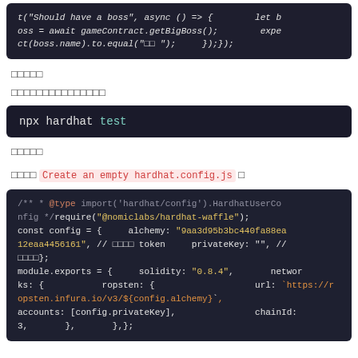[Figure (screenshot): Code block showing test function with async arrow function calling gameContract.getBigBoss() and expect assertion]
□□□□□
□□□□□□□□□□□□□□□
[Figure (screenshot): Command block: npx hardhat test]
□□□□□
□□□□ Create an empty hardhat.config.js □
[Figure (screenshot): Code block showing hardhat config JS with alchemy key, privateKey, module.exports with solidity 0.8.4, networks ropsten config]